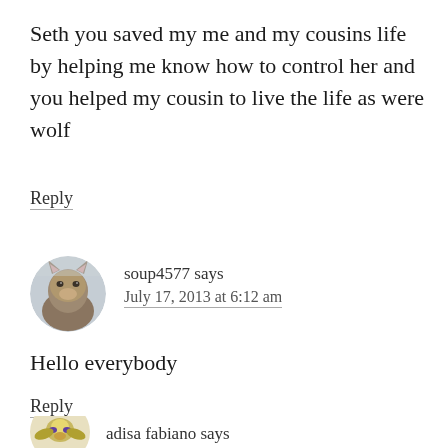Seth you saved my me and my cousins life by helping me know how to control her and you helped my cousin to live the life as were wolf
Reply
[Figure (photo): Circular avatar image of a wolf]
soup4577 says
July 17, 2013 at 6:12 am
Hello everybody
Reply
[Figure (illustration): Circular avatar image for adisa fabiano]
adisa fabiano says